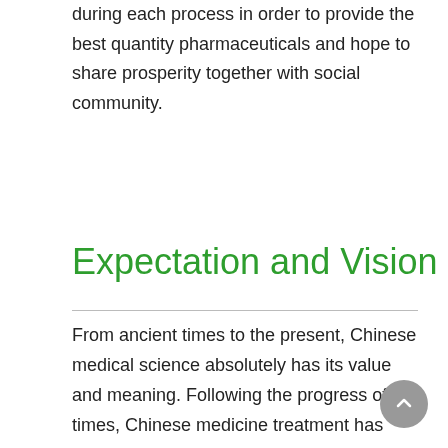during each process in order to provide the best quantity pharmaceuticals and hope to share prosperity together with social community.
Expectation and Vision
From ancient times to the present, Chinese medical science absolutely has its value and meaning. Following the progress of the times, Chinese medicine treatment has already been scientific, and the effects have been proved by modern experiment. With the low toxicity and low side effect, Chinese medicine has been taken into account and been widely used, especially for some treatment of